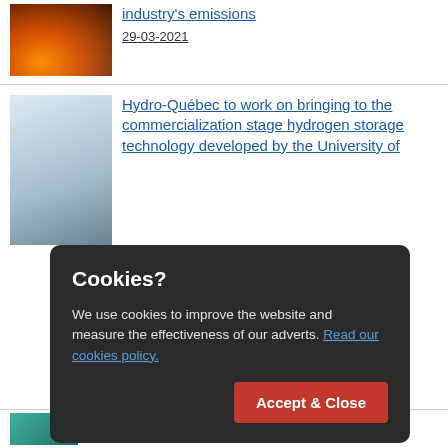[Figure (photo): Industrial fire/molten metal factory scene thumbnail]
industry's emissions
29-03-2021
[Figure (photo): Laboratory with scientists in white coats thumbnail]
Hydro-Québec to work on bringing to the commercialization stage hydrogen storage technology developed by the University of South Wales
Cookies?
We use cookies to improve the website and measure the effectiveness of our adverts. Read our cookies policy.
Accept & Close
[Figure (photo): Circuit/technology thumbnail partial view at bottom]